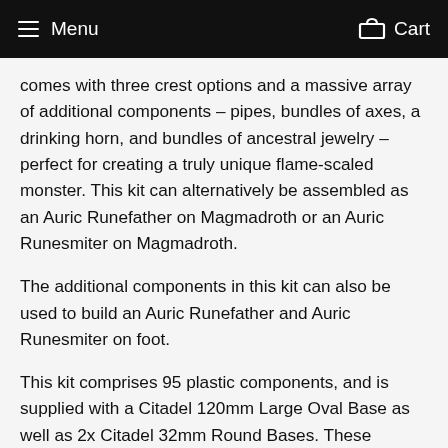Menu   Cart
comes with three crest options and a massive array of additional components – pipes, bundles of axes, a drinking horn, and bundles of ancestral jewelry – perfect for creating a truly unique flame-scaled monster. This kit can alternatively be assembled as an Auric Runefather on Magmadroth or an Auric Runesmiter on Magmadroth.
The additional components in this kit can also be used to build an Auric Runefather and Auric Runesmiter on foot.
This kit comprises 95 plastic components, and is supplied with a Citadel 120mm Large Oval Base as well as 2x Citadel 32mm Round Bases. These miniatures are supplied unpainted and require assembly – we recommend using Citadel Plastic Glue and Citadel